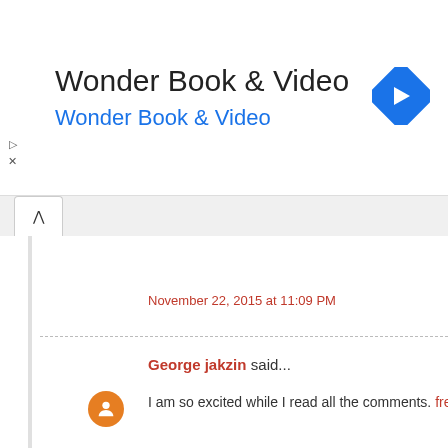[Figure (screenshot): Wonder Book & Video advertisement banner with logo icon (blue diamond with right arrow)]
November 22, 2015 at 11:09 PM
George jakzin said...
I am so excited while I read all the comments. frenchscarveso...
November 22, 2015 at 11:15 PM
Riyash Dev said...
Very useful to implement in life. payuncomemarket...